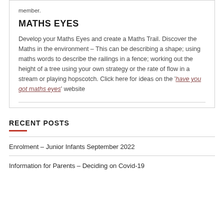member.
MATHS EYES
Develop your Maths Eyes and create a Maths Trail. Discover the Maths in the environment – This can be describing a shape; using maths words to describe the railings in a fence; working out the height of a tree using your own strategy or the rate of flow in a stream or playing hopscotch. Click here for ideas on the 'have you got maths eyes' website
RECENT POSTS
Enrolment – Junior Infants September 2022
Information for Parents – Deciding on Covid-19